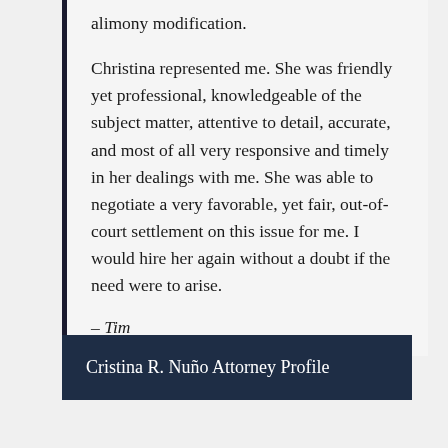alimony modification.
Christina represented me. She was friendly yet professional, knowledgeable of the subject matter, attentive to detail, accurate, and most of all very responsive and timely in her dealings with me. She was able to negotiate a very favorable, yet fair, out-of-court settlement on this issue for me. I would hire her again without a doubt if the need were to arise.
– Tim
Cristina R. Nuño Attorney Profile